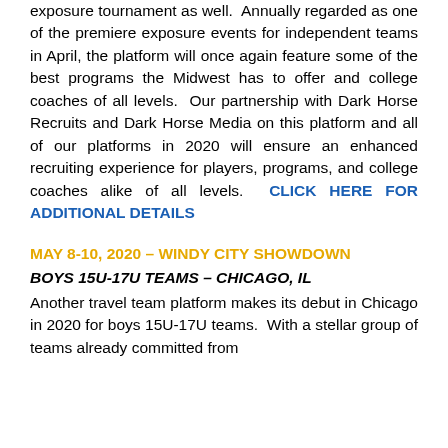exposure tournament as well.  Annually regarded as one of the premiere exposure events for independent teams in April, the platform will once again feature some of the best programs the Midwest has to offer and college coaches of all levels.  Our partnership with Dark Horse Recruits and Dark Horse Media on this platform and all of our platforms in 2020 will ensure an enhanced recruiting experience for players, programs, and college coaches alike of all levels.  CLICK HERE FOR ADDITIONAL DETAILS
MAY 8-10, 2020 – WINDY CITY SHOWDOWN
BOYS 15U-17U TEAMS – CHICAGO, IL
Another travel team platform makes its debut in Chicago in 2020 for boys 15U-17U teams.  With a stellar group of teams already committed from